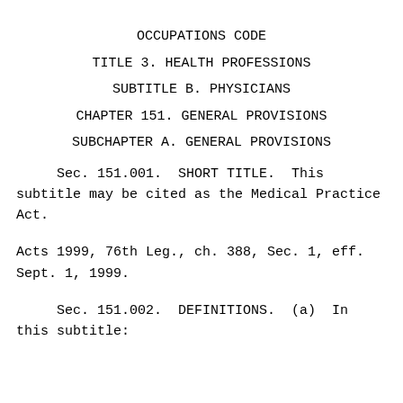OCCUPATIONS CODE
TITLE 3. HEALTH PROFESSIONS
SUBTITLE B. PHYSICIANS
CHAPTER 151. GENERAL PROVISIONS
SUBCHAPTER A. GENERAL PROVISIONS
Sec. 151.001.  SHORT TITLE.  This subtitle may be cited as the Medical Practice Act.
Acts 1999, 76th Leg., ch. 388, Sec. 1, eff. Sept. 1, 1999.
Sec. 151.002.  DEFINITIONS.  (a)  In this subtitle: